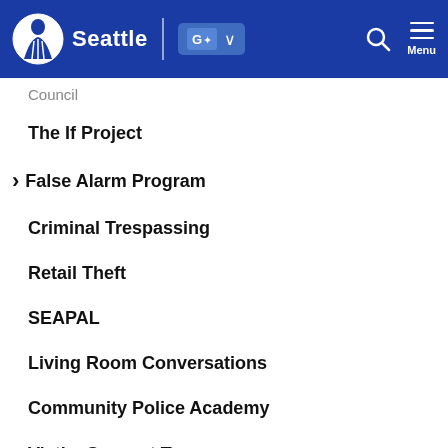Seattle — City of Seattle government website header with logo, translate button, search, and menu
Council
The If Project
False Alarm Program
Criminal Trespassing
Retail Theft
SEAPAL
Living Room Conversations
Community Police Academy
Victim Support Team Volunteer [Moved]